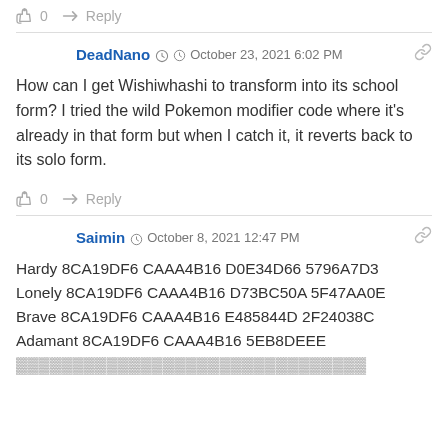👍 0  ➜ Reply
DeadNano  October 23, 2021 6:02 PM
How can I get Wishiwhashi to transform into its school form? I tried the wild Pokemon modifier code where it's already in that form but when I catch it, it reverts back to its solo form.
👍 0  ➜ Reply
Saimin  October 8, 2021 12:47 PM
Hardy 8CA19DF6 CAAA4B16 D0E34D66 5796A7D3
Lonely 8CA19DF6 CAAA4B16 D73BC50A 5F47AA0E
Brave 8CA19DF6 CAAA4B16 E485844D 2F24038C
Adamant 8CA19DF6 CAAA4B16 5EB8DEEE